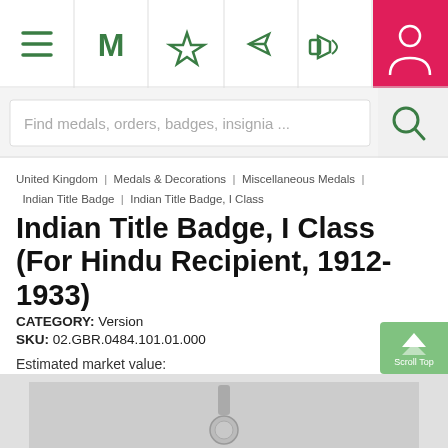[Figure (screenshot): Navigation bar with hamburger menu, M logo, star, navigation arrow, megaphone icons, and a pink/red user account icon on the right]
[Figure (screenshot): Search bar with placeholder text 'Find medals, orders, badges, insignia ...' and a search icon on the right]
United Kingdom | Medals & Decorations | Miscellaneous Medals | Indian Title Badge | Indian Title Badge, I Class
Indian Title Badge, I Class (For Hindu Recipient, 1912-1933)
CATEGORY: Version
SKU: 02.GBR.0484.101.01.000
Estimated market value:
$200-300 USD
[Figure (photo): Partial view of a medal/badge item image at the bottom of the page]